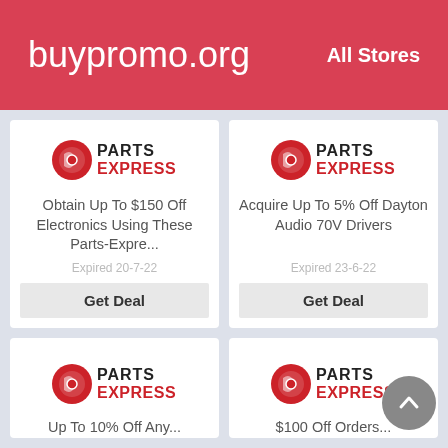buypromo.org    All Stores
[Figure (logo): Parts Express logo - red speaker icon with PARTS EXPRESS text]
Obtain Up To $150 Off Electronics Using These Parts-Expre...
Expired 20-7-22
Get Deal
[Figure (logo): Parts Express logo - red speaker icon with PARTS EXPRESS text]
Acquire Up To 5% Off Dayton Audio 70V Drivers
Expired 23-6-22
Get Deal
[Figure (logo): Parts Express logo - red speaker icon with PARTS EXPRESS text]
Up To 10% Off Any...
[Figure (logo): Parts Express logo - red speaker icon with PARTS EXPRESS text]
$100 Off Orders...